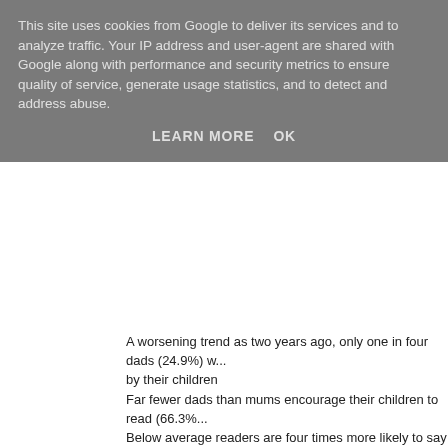This site uses cookies from Google to deliver its services and to analyze traffic. Your IP address and user-agent are shared with Google along with performance and security metrics to ensure quality of service, generate usage statistics, and to detect and address abuse.
LEARN MORE   OK
A worsening trend as two years ago, only one in four dads (24.9%) w... by their children
Far fewer dads than mums encourage their children to read (66.3%...
Below average readers are four times more likely to say their dad do... read
One young person in seven has never been to a bookshop
The role of fathers in encouraging communication and literacy devel... and young children is set to become even more important under the... parental leave being introduced in 2015. New mothers will be able to... weeks after childbirth and share the rest of their maternity leave with... input will become even more crucial.
Jonathan Douglas, Director of the National Literacy Trust, the charity... said:
“It’s old fashioned to think that encouraging reading is just down to m... behaviours from both parents, and boys in particular benefit from ma... forthcoming changes to parental leave, a father’s role in their child’s...